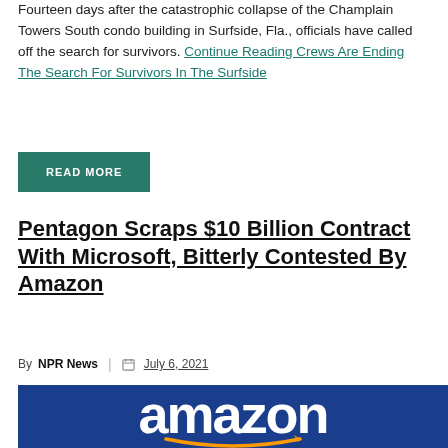Fourteen days after the catastrophic collapse of the Champlain Towers South condo building in Surfside, Fla., officials have called off the search for survivors. Continue Reading Crews Are Ending The Search For Survivors In The Surfside
READ MORE
Pentagon Scraps $10 Billion Contract With Microsoft, Bitterly Contested By Amazon
By NPR News | July 6, 2021
[Figure (photo): Amazon logo — white text on dark blue background with orange smile arrow]